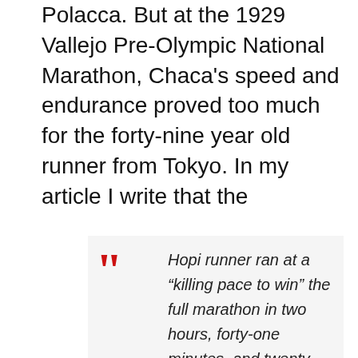Polacca. But at the 1929 Vallejo Pre-Olympic National Marathon, Chaca's speed and endurance proved too much for the forty-nine year old runner from Tokyo. In my article I write that the
Hopi runner ran at a “killing pace to win” the full marathon in two hours, forty-one minutes, and twenty-five seconds, a “full second better than the performance of Alpien Stenroos” in the 1924 Olympic Games in Paris. One of the fifty thousand spectators of the marathon recalled that Chaca’s “victory” was “all the more